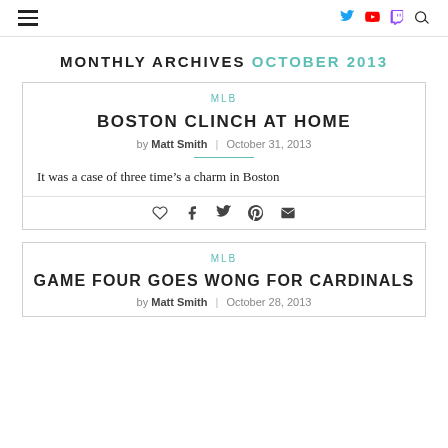≡ [hamburger menu] | [Twitter] [YouTube] [Twitch] [Search]
MONTHLY ARCHIVES OCTOBER 2013
MLB
BOSTON CLINCH AT HOME
by Matt Smith | October 31, 2013
It was a case of three time's a charm in Boston
MLB
GAME FOUR GOES WONG FOR CARDINALS
by Matt Smith | October 28, 2013